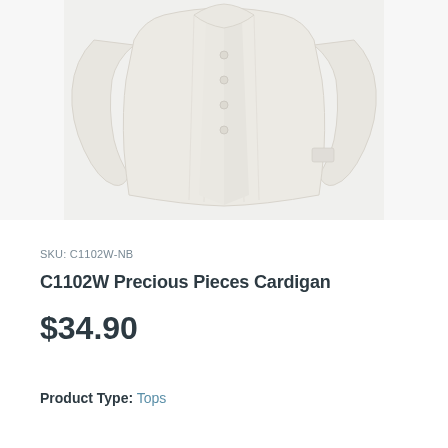[Figure (photo): White baby cardigan with long sleeves and snap buttons down the front, displayed against a light gray background.]
SKU: C1102W-NB
C1102W Precious Pieces Cardigan
$34.90
Product Type: Tops